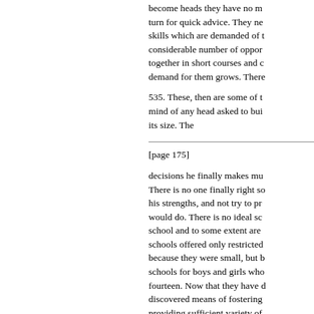become heads they have no mentor to turn for quick advice. They need skills which are demanded of them considerable number of opportunities together in short courses and demand for them grows. There
535. These, then are some of the mind of any head asked to build its size. The
[page 175]
decisions he finally makes must. There is no one finally right solution his strengths, and not try to pretend would do. There is no ideal school and to some extent are schools offered only restricted because they were small, but schools for boys and girls who fourteen. Now that they have discovered means of fostering providing sufficient variety of needs of most of the pupils wh